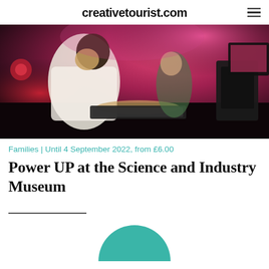creativetourist.com
[Figure (photo): Young woman typing on a keyboard at a computer workstation in a dark room with pink/red lighting; another child visible in the background also at a computer]
Families | Until 4 September 2022, from £6.00
Power UP at the Science and Industry Museum
[Figure (illustration): Teal/turquoise semicircle at the bottom of the page, partially visible]